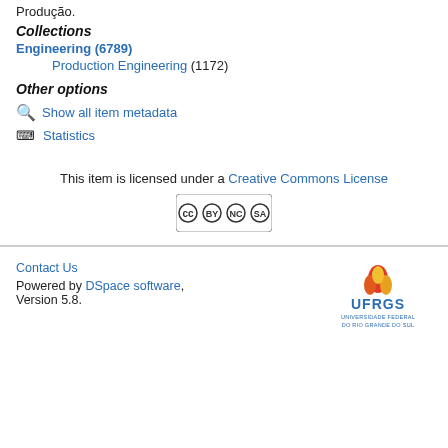Produção.
Collections
Engineering (6789)
Production Engineering (1172)
Other options
Show all item metadata
Statistics
This item is licensed under a Creative Commons License
[Figure (logo): Creative Commons BY NC SA license badge]
Contact Us
Powered by DSpace software, Version 5.8.
[Figure (logo): UFRGS - Universidade Federal do Rio Grande do Sul logo]